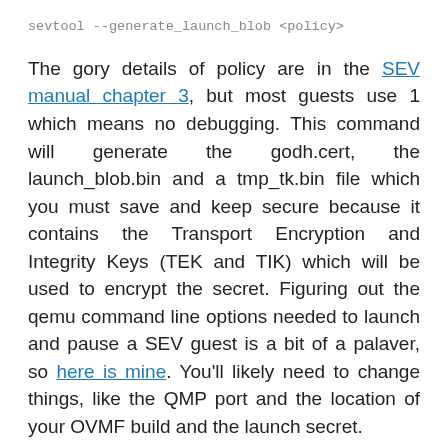sevtool --generate_launch_blob <policy>
The gory details of policy are in the SEV manual chapter 3, but most guests use 1 which means no debugging. This command will generate the godh.cert, the launch_blob.bin and a tmp_tk.bin file which you must save and keep secure because it contains the Transport Encryption and Integrity Keys (TEK and TIK) which will be used to encrypt the secret. Figuring out the qemu command line options needed to launch and pause a SEV guest is a bit of a palaver, so here is mine. You'll likely need to change things, like the QMP port and the location of your OVMF build and the launch secret.
Finally you need to get the launch measure from QMP, verify it against the sha256sum of OVMF.fd and create the secret bundle with the correct GUID headers. Since this is really fiddly to do with sevtool, I wrote this python script3 to do it all (note it requires qmp.py from the qemu git repository). You